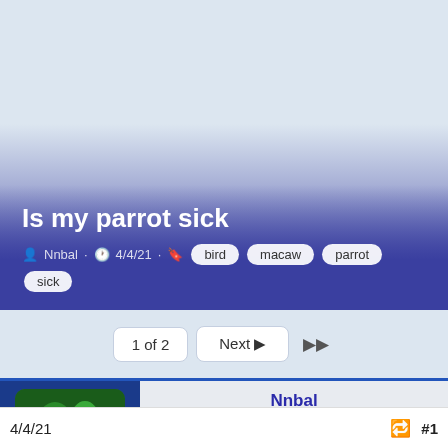[Figure (illustration): Forum post banner with gradient background from light blue to deep blue-purple, showing post title and metadata]
Is my parrot sick
Nnbal · 4/4/21 · bird macaw parrot sick
1 of 2  Next ▶  ▶▶
[Figure (photo): Colorful macaw parrot avatar image with green and red plumage]
Nnbal
Rollerblading along the road
Celebirdy of the Month
4/4/21   #1